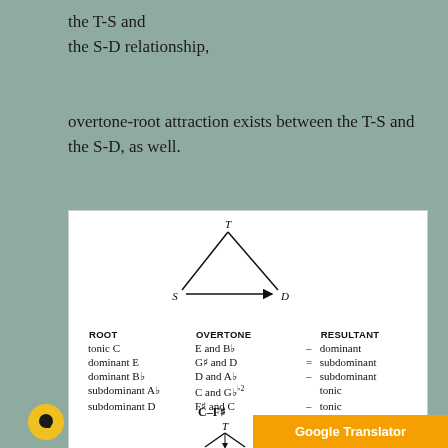the T-S and
the S-D relationship,
overtone-root attraction exists between the T-S and
the S-D, as well.
[Figure (other): Triangle diagram with T at top, S at bottom-left, D at bottom-right, arrow from S to D, and lines from S and D up to T.]
| ROOT |  | OVERTONE |  | RESULTANT |
| --- | --- | --- | --- | --- |
| tonic C |  | E and B♭ | – | dominant |
| dominant E |  | G♯ and D | = | subdominant |
| dominant B♭ |  | D and A♭ | – | subdominant |
| subdominant A♭ |  | C and G♭ |  | tonic |
| subdominant D |  | F♯ and C | – | tonic |
C–F♯
[Figure (other): Small triangle with T label at top, partial diagram at bottom of page.]